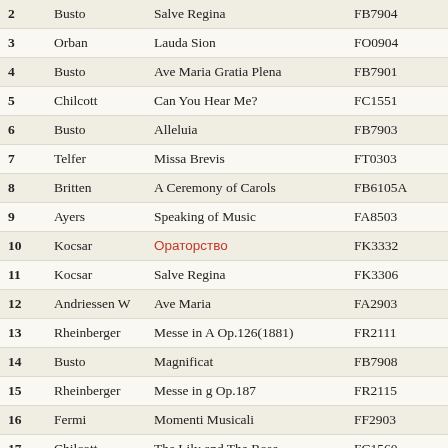| # | Composer | Work | Code |
| --- | --- | --- | --- |
| 2 | Busto | Salve Regina | FB7904 |
| 3 | Orban | Lauda Sion | FO0904 |
| 4 | Busto | Ave Maria Gratia Plena | FB7901 |
| 5 | Chilcott | Can You Hear Me? | FC1551 |
| 6 | Busto | Alleluia | FB7903 |
| 7 | Telfer | Missa Brevis | FT0303 |
| 8 | Britten | A Ceremony of Carols | FB6105A |
| 9 | Ayers | Speaking of Music | FA8503 |
| 10 | Kocsar | [non-latin text] | FK3332 |
| 11 | Kocsar | Salve Regina | FK3306 |
| 12 | Andriessen W | Ave Maria | FA2903 |
| 13 | Rheinberger | Messe in A Op.126(1881) | FR2111 |
| 14 | Busto | Magnificat | FB7908 |
| 15 | Rheinberger | Messe in g Op.187 | FR2115 |
| 16 | Fermi | Momenti Musicali | FF2903 |
| 17 | Chilcott | The Lily and The Rose | FC1560 |
| 18 | Vivaldi | Gloria RV.589 | FV1703A |